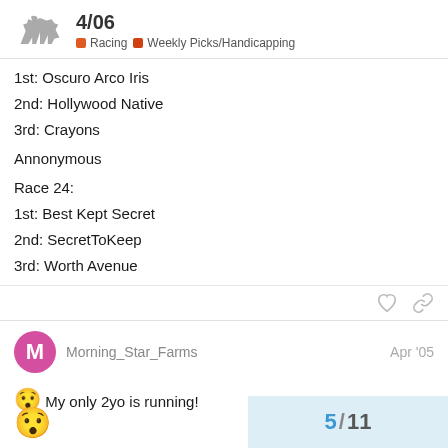4/06 Racing Weekly Picks/Handicapping
1st: Oscuro Arco Iris
2nd: Hollywood Native
3rd: Crayons
Annonymous
Race 24:
1st: Best Kept Secret
2nd: SecretToKeep
3rd: Worth Avenue
Morning_Star_Farms  Apr '05
My only 2yo is running!
5 / 11